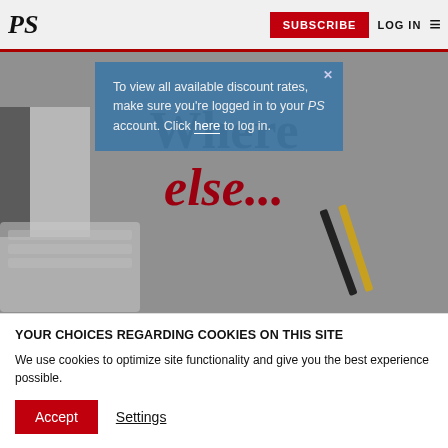PS | SUBSCRIBE | LOG IN
[Figure (photo): Hero background showing a desk with a spiral notebook, keyboard, and pencils on a gray surface. Large serif text reads 'Where else...' in black and dark red.]
To view all available discount rates, make sure you're logged in to your PS account. Click here to log in.
can you get access to the great minds of
YOUR CHOICES REGARDING COOKIES ON THIS SITE
We use cookies to optimize site functionality and give you the best experience possible.
Accept
Settings